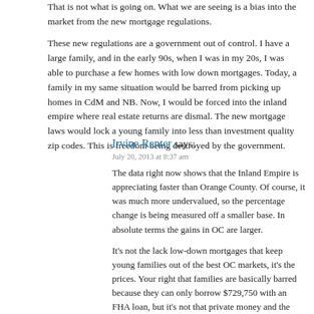That is not what is going on. What we are seeing is a bias into the market from the new mortgage regulations.
These new regulations are a government out of control. I have a large family, and in the early 90s, when I was in my 20s, I was able to purchase a few homes with low down mortgages. Today, a family in my same situation would be barred from picking up homes in CdM and NB. Now, I would be forced into the inland empire where real estate returns are dismal. The new mortgage laws would lock a young family into less than investment quality zip codes. This is freedom being destroyed by the government.
Irvine Renter says:
July 20, 2013 at 8:37 am
The data right now shows that the Inland Empire is appreciating faster than Orange County. Of course, it was much more undervalued, so the percentage change is being measured off a smaller base. In absolute terms the gains in OC are larger.
It's not the lack low-down mortgages that keep young families out of the best OC markets, it's the prices. Your right that families are basically barred because they can only borrow $729,750 with an FHA loan, but it's not that private money and the free market is unable to provide larger, low down payment loans, it's that they are unwilling to do so because it carries too much risk.
On a bigger picture level, I agree with you that all the